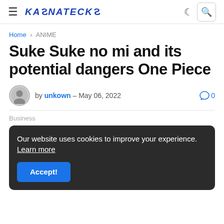KASNATECKS
Home > ANIME
Suke Suke no mi and its potential dangers One Piece
by unkown – May 06, 2022   0
Business
Our website uses cookies to improve your experience. Learn more
Accept!